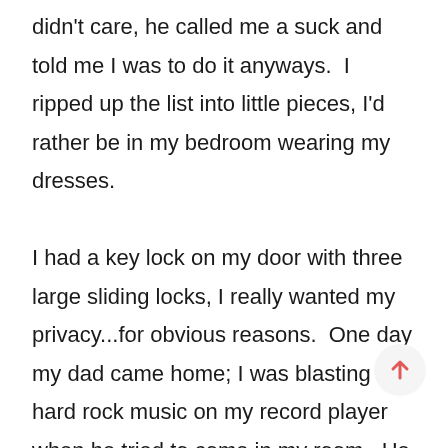didn't care, he called me a suck and told me I was to do it anyways.  I ripped up the list into little pieces, I'd rather be in my bedroom wearing my dresses.

I had a key lock on my door with three large sliding locks, I really wanted my privacy...for obvious reasons.  One day my dad came home; I was blasting hard rock music on my record player when he tried to come in my room.  He began banging on the door and told me to open the door, so I quickly changed out of my dress and opened the door...what a mistake that was.  He didn't